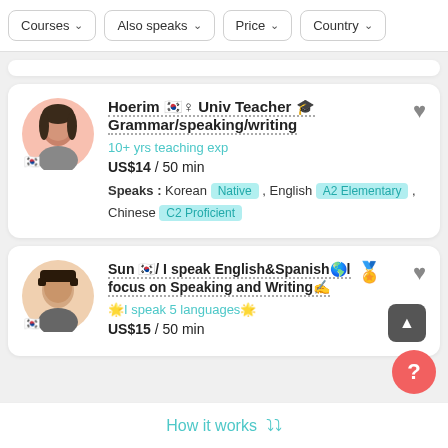Courses | Also speaks | Price | Country
Hoerim 🇰🇷♀ Univ Teacher 🎓 Grammar/speaking/writing
10+ yrs teaching exp
US$14 / 50 min
Speaks : Korean Native , English A2 Elementary , Chinese C2 Proficient
Sun 🇰🇷/ I speak English&Spanish🌎I focus on Speaking and Writing✍️
🌟I speak 5 languages🌟
US$15 / 50 min
How it works ❯❯